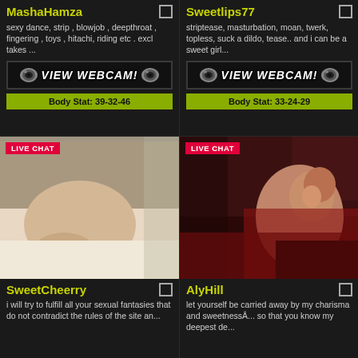MashaHamza
sexy dance, strip , blowjob , deepthroat , fingering , toys , hitachi, riding etc . excl takes ...
[Figure (other): VIEW WEBCAM button with webcam icons]
Body Stat: 39-32-46
[Figure (photo): Live chat photo - nude figure on bed]
SweetCheerry
i will try to fulfill all your sexual fantasies that do not contradict the rules of the site an...
Sweetlips77
striptease, masturbation, moan, twerk, topless, suck a dildo, tease.. and i can be a sweet girl...
[Figure (other): VIEW WEBCAM button with webcam icons]
Body Stat: 33-24-29
[Figure (photo): Live chat photo - woman in red lighting]
AlyHill
let yourself be carried away by my charisma and sweetnessÂ... so that you know my deepest de...